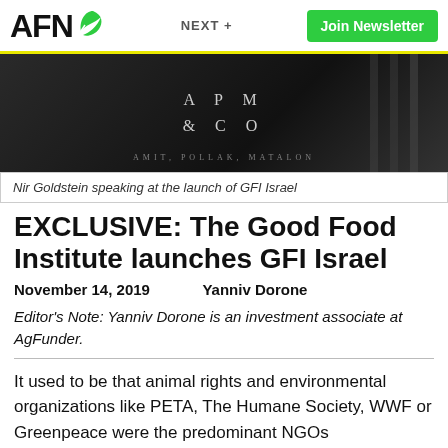AFN | NEXT + | Join Newsletter
[Figure (photo): Photo of a sign reading APM & CO at the launch of GFI Israel, dark background]
Nir Goldstein speaking at the launch of GFI Israel
EXCLUSIVE: The Good Food Institute launches GFI Israel
November 14, 2019   Yanniv Dorone
Editor's Note: Yanniv Dorone is an investment associate at AgFunder.
It used to be that animal rights and environmental organizations like PETA, The Humane Society, WWF or Greenpeace were the predominant NGOs